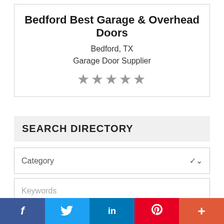Bedford Best Garage & Overhead Doors
Bedford, TX
Garage Door Supplier
[Figure (other): Five grey star rating icons]
SEARCH DIRECTORY
Category
Keywords
Postal Code
Search
Advanced Search
[Figure (other): Social media share bar with Facebook, Twitter, LinkedIn, Pinterest, and More buttons]